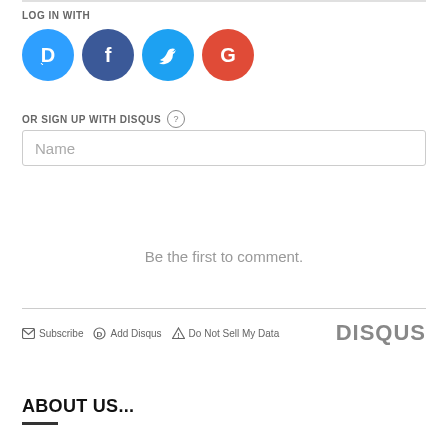LOG IN WITH
[Figure (logo): Four social login icons: Disqus (blue circle with D), Facebook (dark blue circle with f), Twitter (light blue circle with bird), Google (red circle with G)]
OR SIGN UP WITH DISQUS ?
Name
Be the first to comment.
Subscribe  Add Disqus  Do Not Sell My Data  DISQUS
ABOUT US...